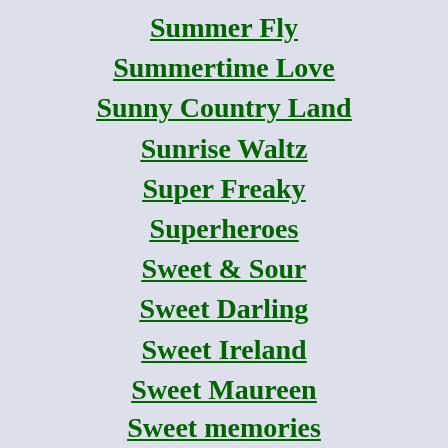Summer Fly
Summertime Love
Sunny Country Land
Sunrise Waltz
Super Freaky
Superheroes
Sweet & Sour
Sweet Darling
Sweet Ireland
Sweet Maureen
Sweet memories